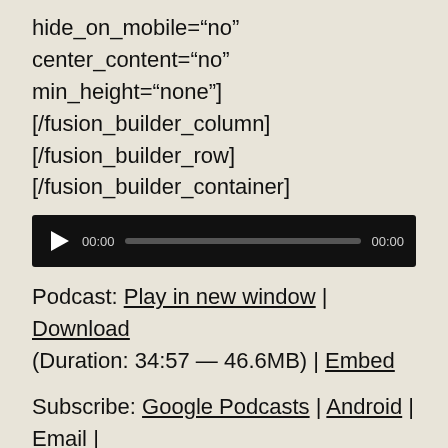hide_on_mobile="no" center_content="no" min_height="none"][/fusion_builder_column][/fusion_builder_row][/fusion_builder_container]
[Figure (other): Audio player with play button, time display 00:00, progress bar, and end time 00:00 on black background]
Podcast: Play in new window | Download (Duration: 34:57 — 46.6MB) | Embed
Subscribe: Google Podcasts | Android | Email | RSS
Published Fri 9-2-2018AD | 23-5-1439AH